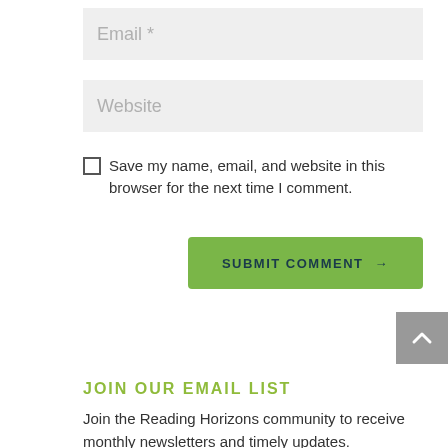Email *
Website
Save my name, email, and website in this browser for the next time I comment.
SUBMIT COMMENT →
JOIN OUR EMAIL LIST
Join the Reading Horizons community to receive monthly newsletters and timely updates.